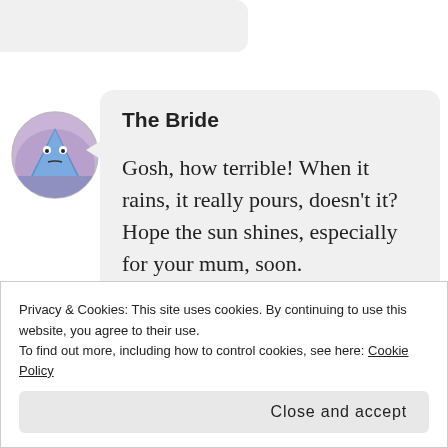[Figure (screenshot): Circular avatar icon showing a cartoon character - a blue/purple triangular figure with eyes, on a purple/lavender background]
The Bride
Gosh, how terrible! When it rains, it really pours, doesn't it? Hope the sun shines, especially for your mum, soon.
Privacy & Cookies: This site uses cookies. By continuing to use this website, you agree to their use.
To find out more, including how to control cookies, see here: Cookie Policy
Close and accept